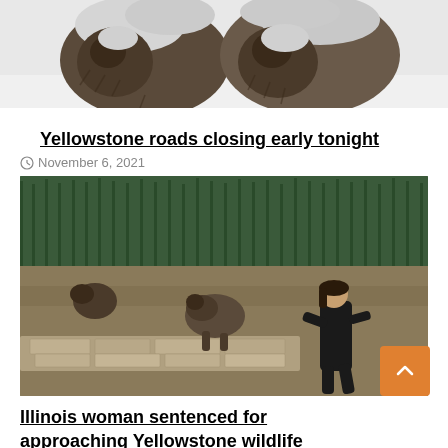[Figure (photo): Two bison covered in snow, photographed from the front in a snowy landscape]
Yellowstone roads closing early tonight
November 6, 2021
[Figure (photo): A woman in black clothing running near a stone wall with a grizzly bear approaching in the background, with pine trees and open land behind]
Illinois woman sentenced for approaching Yellowstone wildlife
October 15, 2021